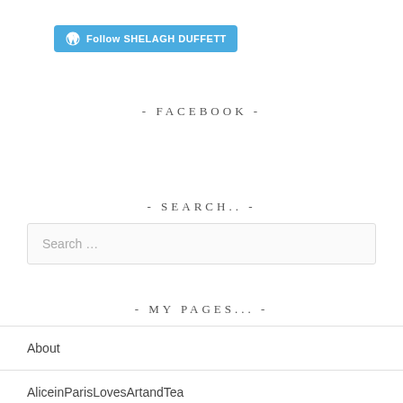[Figure (other): WordPress follow button with WordPress logo icon, teal/blue background, white text reading 'Follow SHELAGH DUFFETT']
- FACEBOOK -
- SEARCH.. -
Search …
- MY PAGES... -
About
AliceinParisLovesArtandTea
Art Classes